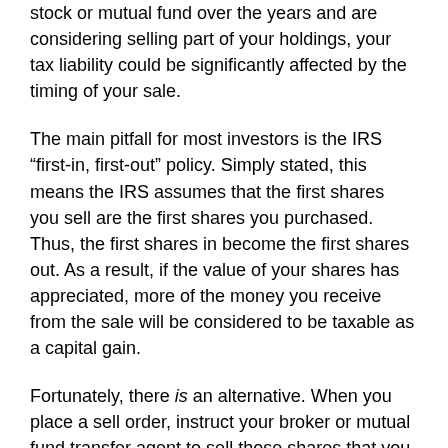stock or mutual fund over the years and are considering selling part of your holdings, your tax liability could be significantly affected by the timing of your sale.
The main pitfall for most investors is the IRS “first-in, first-out” policy. Simply stated, this means the IRS assumes that the first shares you sell are the first shares you purchased. Thus, the first shares in become the first shares out. As a result, if the value of your shares has appreciated, more of the money you receive from the sale will be considered to be taxable as a capital gain.
Fortunately, there is an alternative. When you place a sell order, instruct your broker or mutual fund transfer agent to sell those shares that you purchased for the highest amount of money. This will reduce the percentage of the proceeds of the sale that can be considered capital gain and are therefore taxable.
In order for this strategy to work, you must specify